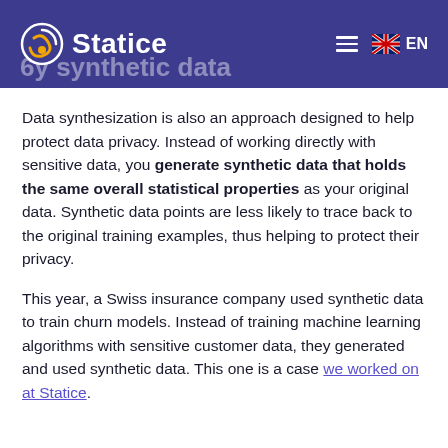Statice
6y synthetic data
Data synthesization is also an approach designed to help protect data privacy. Instead of working directly with sensitive data, you generate synthetic data that holds the same overall statistical properties as your original data. Synthetic data points are less likely to trace back to the original training examples, thus helping to protect their privacy.
This year, a Swiss insurance company used synthetic data to train churn models. Instead of training machine learning algorithms with sensitive customer data, they generated and used synthetic data. This one is a case we worked on at Statice.